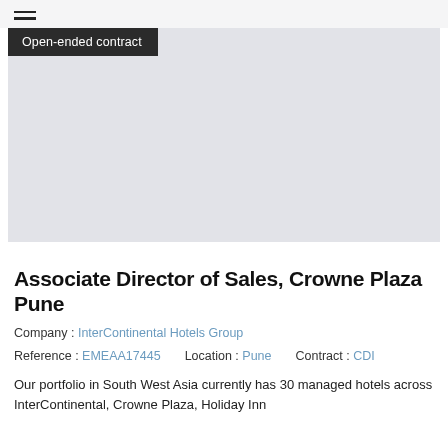≡
[Figure (other): Hero image placeholder with light grey background and a dark badge reading 'Open-ended contract']
Associate Director of Sales, Crowne Plaza Pune
Company : InterContinental Hotels Group
Reference : EMEAA17445    Location : Pune    Contract : CDI
Our portfolio in South West Asia currently has 30 managed hotels across InterContinental, Crowne Plaza, Holiday Inn